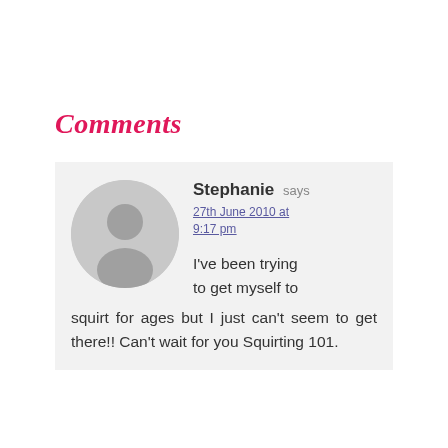Comments
Stephanie says
27th June 2010 at 9:17 pm

I've been trying to get myself to squirt for ages but I just can't seem to get there!! Can't wait for you Squirting 101.